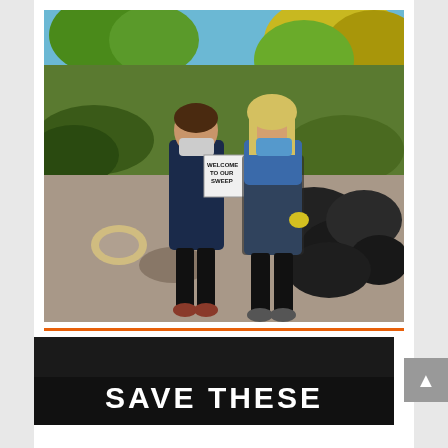[Figure (photo): Two women wearing blue shirts and face masks standing outdoors on a sunny fall day near a waterway with trees in the background. They are holding a sign that reads 'WELCOME TO OUR SWEEP'. Several large black garbage bags are visible to their right, and a rope coil is on the ground to their left. This appears to be a shoreline or river cleanup event.]
[Figure (photo): Bottom cropped portion of a photo with a dark/black foreground area and overlaid white bold text reading 'SAVE THESE'.]
SAVE THESE